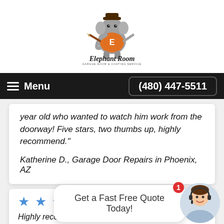[Figure (logo): Elephant Room Garage Door & Coating Service logo — cartoon elephant holding tools wearing orange shirt with 'E', with 'Elephant Room' script text below and 'GARAGE DOOR & COATING SERVICE' tagline]
≡ Menu    (480) 447-5511
year old who wanted to watch him work from the doorway! Five stars, two thumbs up, highly recommend."
Katherine D., Garage Door Repairs in Phoenix, AZ
★★★★ yo
Get a Fast Free Quote Today!
Highly recommend to anyone searching for an honest garage repair company."